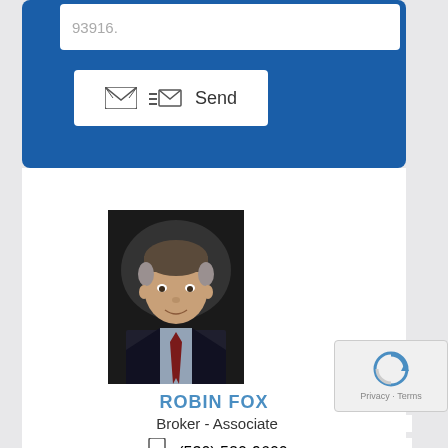93916.
Send
[Figure (photo): Professional headshot of Robin Fox, a middle-aged man in a dark suit and red tie, smiling, against a dark background.]
ROBIN FOX
Broker - Associate
(530) 520-9600